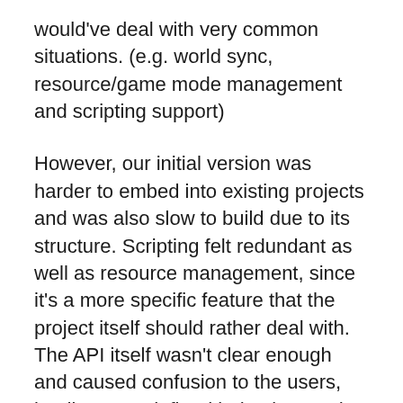would've deal with very common situations. (e.g. world sync, resource/game mode management and scripting support)
However, our initial version was harder to embed into existing projects and was also slow to build due to its structure. Scripting felt redundant as well as resource management, since it's a more specific feature that the project itself should rather deal with. The API itself wasn't clear enough and caused confusion to the users, leading to undefined behaviour and undesirable results.
We have changed it! We've decided to